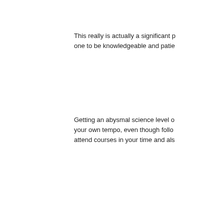This really is actually a significant p... one to be knowledgeable and patie...
Getting an abysmal science level o... your own tempo, even though follo... attend courses in your time and als...
Study guides are also offered by so... your studies. It will allow you to acc... procedure.